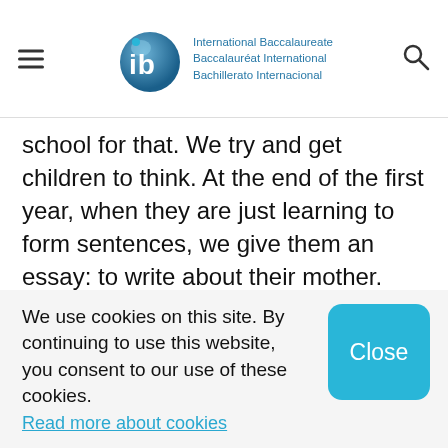International Baccalaureate Baccalauréat International Bachillerato Internacional
school for that. We try and get children to think. At the end of the first year, when they are just learning to form sentences, we give them an essay: to write about their mother. They're not told what to write. None of the children's essays will be the same, of course, because they are
We use cookies on this site. By continuing to use this website, you consent to our use of these cookies.
Read more about cookies